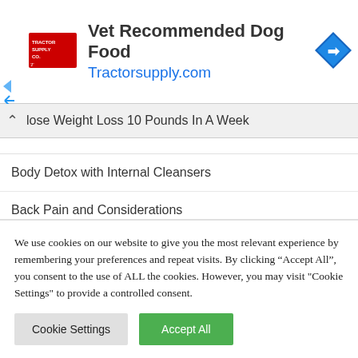[Figure (logo): Tractor Supply Co logo and advertisement banner with text 'Vet Recommended Dog Food' and 'Tractorsupply.com' with a blue diamond arrow icon]
lose Weight Loss 10 Pounds In A Week
Body Detox with Internal Cleansers
Back Pain and Considerations
What exactly is Leaky Gut Syndrome?
Common Atkins Diet Mistakes
We use cookies on our website to give you the most relevant experience by remembering your preferences and repeat visits. By clicking “Accept All”, you consent to the use of ALL the cookies. However, you may visit "Cookie Settings" to provide a controlled consent.
Cookie Settings | Accept All